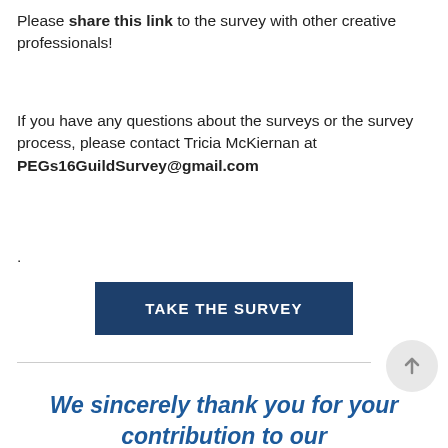Please share this link to the survey with other creative professionals!
If you have any questions about the surveys or the survey process, please contact Tricia McKiernan at PEGs16GuildSurvey@gmail.com
.
TAKE THE SURVEY
We sincerely thank you for your contribution to our